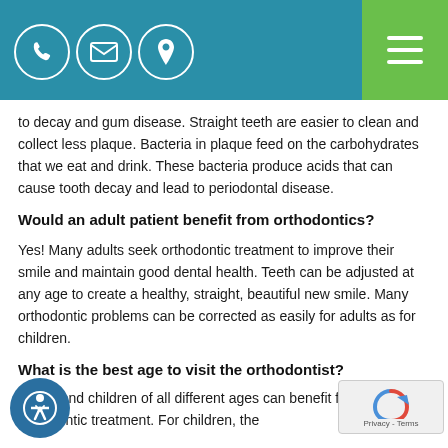[Figure (other): Website header bar with teal/blue background containing three white circle icons (phone, email, location) and a green hamburger menu button on the right]
to decay and gum disease. Straight teeth are easier to clean and collect less plaque. Bacteria in plaque feed on the carbohydrates that we eat and drink. These bacteria produce acids that can cause tooth decay and lead to periodontal disease.
Would an adult patient benefit from orthodontics?
Yes! Many adults seek orthodontic treatment to improve their smile and maintain good dental health. Teeth can be adjusted at any age to create a healthy, straight, beautiful new smile. Many orthodontic problems can be corrected as easily for adults as for children.
What is the best age to visit the orthodontist?
Adults and children of all different ages can benefit from orthodontic treatment. For children, the